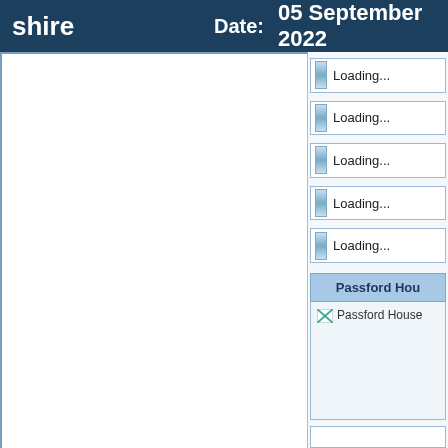shire   Date: 05 September 2022
Loading...
Loading...
Loading...
Loading...
Loading...
Passford Hou
[Figure (photo): Passford House image placeholder (broken image icon with text 'Passford House')]